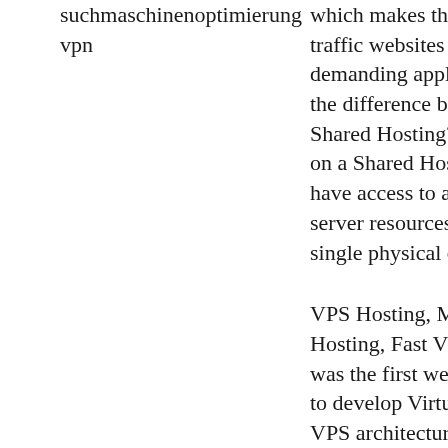suchmaschinenoptimierung vpn
which makes them ideal for high-traffic websites and resource demanding applications. What is the difference between VPS and Shared Hosting? Websites hosted on a Shared Hosting environment have access to a shared pool of server resources available to a single physical or virtual server.
VPS Hosting, Managed VPS Hosting, Fast VPS Hosting. AIT was the first web hosting company to develop Virtual Private Server VPS architecture where each VPS had its own complete file